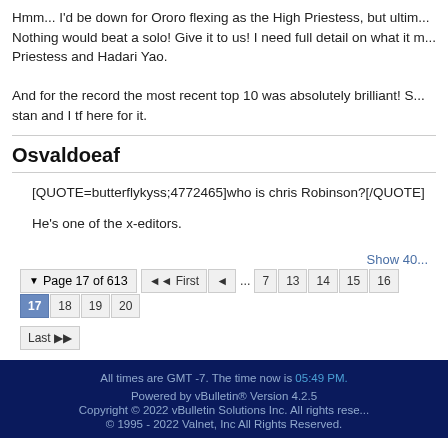Hmm... I'd be down for Ororo flexing as the High Priestess, but ultim... Nothing would beat a solo! Give it to us! I need full detail on what it m... Priestess and Hadari Yao.

And for the record the most recent top 10 was absolutely brilliant! S... stan and I tf here for it.
Osvaldoeaf
[QUOTE=butterflykyss;4772465]who is chris Robinson?[/QUOTE]

He's one of the x-editors.
Show 40 | Page 17 of 613 | First | < | ... | 7 | 13 | 14 | 15 | 16 | 17 | 18 | 19 | 20 | Last
All times are GMT -7. The time now is 05:49 PM.
Powered by vBulletin® Version 4.2.5
Copyright © 2022 vBulletin Solutions Inc. All rights reserved.
© 1995 - 2022 Valnet, Inc All Rights Reserved.